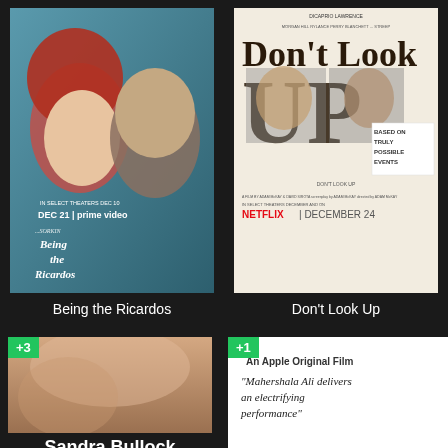[Figure (photo): Movie poster for Being the Ricardos showing two actors facing each other, with text 'Being the Ricardos', 'DEC 21 | prime video']
Being the Ricardos
[Figure (photo): Movie poster for Don't Look Up featuring large text 'Don't Look UP' with cast photos inside letters, Netflix December 24]
Don't Look Up
[Figure (photo): Movie poster partially visible showing Sandra Bullock with +3 badge]
Sandra Bullock
[Figure (photo): An Apple Original Film card with quote: Mahershala Ali delivers an electrifying performance, with +1 badge]